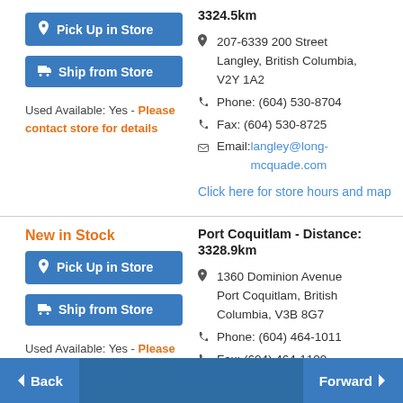3324.5km
Pick Up in Store
Ship from Store
Used Available: Yes - Please contact store for details
207-6339 200 Street Langley, British Columbia, V2Y 1A2
Phone: (604) 530-8704
Fax: (604) 530-8725
Email: langley@long-mcquade.com
Click here for store hours and map
New in Stock
Port Coquitlam - Distance: 3328.9km
Pick Up in Store
Ship from Store
Used Available: Yes - Please contact store for details
1360 Dominion Avenue Port Coquitlam, British Columbia, V3B 8G7
Phone: (604) 464-1011
Fax: (604) 464-1109
Back   Forward